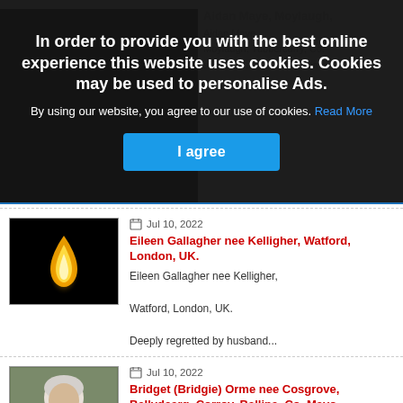In order to provide you with the best online experience this website uses cookies. Cookies may be used to personalise Ads.
By using our website, you agree to our use of cookies. Read More
I agree
[Figure (photo): Black background with a single candle flame]
Jul 10, 2022
Eileen Gallagher nee Kelligher, Watford, London, UK.
Eileen Gallagher nee Kelligher,

Watford, London, UK.

Deeply regretted by husband...
[Figure (photo): Portrait photo of an elderly person with white hair]
Jul 10, 2022
Bridget (Bridgie) Orme nee Cosgrove, Ballydearg, Corroy, Ballina, Co. Mayo